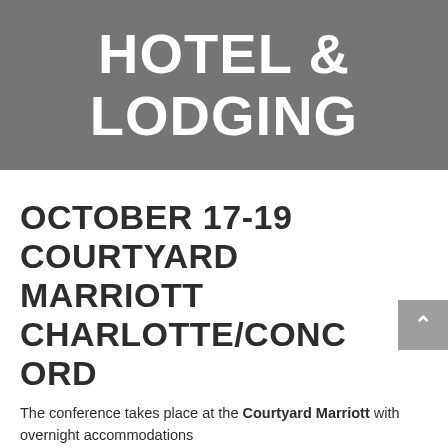HOTEL & LODGING
OCTOBER 17-19 COURTYARD MARRIOTT CHARLOTTE/CONCORD
The conference takes place at the Courtyard Marriott with overnight accommodations